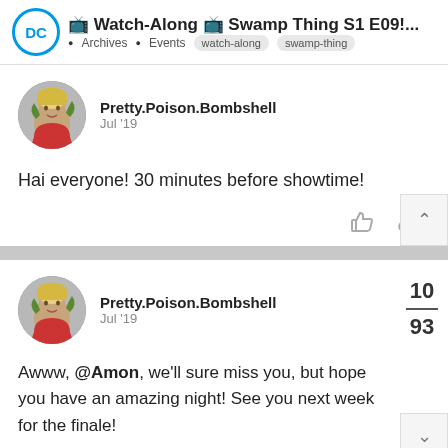📺 Watch-Along 📺 Swamp Thing S1 E09!... Archives • Events watch-along swamp-thing
Pretty.Poison.Bombshell
Jul '19

Hai everyone! 30 minutes before showtime!
Pretty.Poison.Bombshell
Jul '19

Awww, @Amon, we'll sure miss you, but hope you have an amazing night! See you next week for the finale!